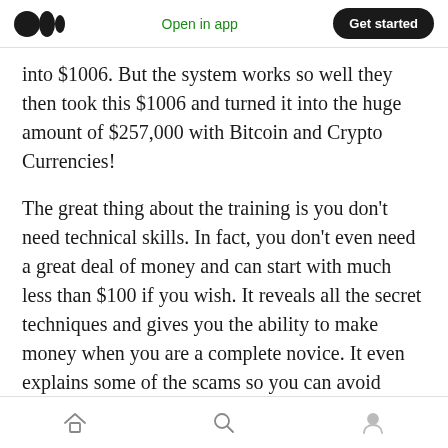Medium logo | Open in app | Get started
into $1006. But the system works so well they then took this $1006 and turned it into the huge amount of $257,000 with Bitcoin and Crypto Currencies!
The great thing about the training is you don't need technical skills. In fact, you don't even need a great deal of money and can start with much less than $100 if you wish. It reveals all the secret techniques and gives you the ability to make money when you are a complete novice. It even explains some of the scams so you can avoid
Home | Search | Profile